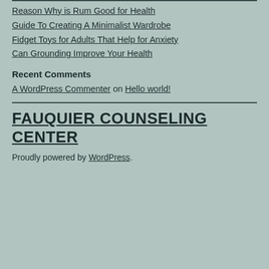Reason Why is Rum Good for Health
Guide To Creating A Minimalist Wardrobe
Fidget Toys for Adults That Help for Anxiety
Can Grounding Improve Your Health
Recent Comments
A WordPress Commenter on Hello world!
FAUQUIER COUNSELING CENTER
Proudly powered by WordPress.